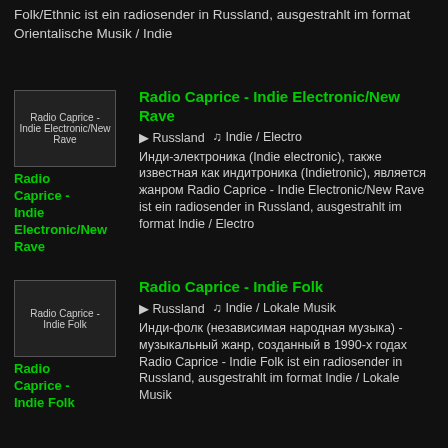Folk/Ethnic ist ein radiosender in Russland, ausgestrahlt im format Orientalische Musik / Indie
[Figure (other): Thumbnail image placeholder for Radio Caprice - Indie Electronic/New Rave]
Radio Caprice - Indie Electronic/New Rave
Russland  Indie / Electro
Инди-электроника (Indie electronic), также известная как индитроника (Indietronic), является жанром Radio Caprice - Indie Electronic/New Rave ist ein radiosender in Russland, ausgestrahlt im format Indie / Electro
[Figure (other): Thumbnail image placeholder for Radio Caprice - Indie Folk]
Radio Caprice - Indie Folk
Russland  Indie / Lokale Musik
Инди-фолк (независимая народная музыка) - музыкальный жанр, созданный в 1990-х годах Radio Caprice - Indie Folk ist ein radiosender in Russland, ausgestrahlt im format Indie / Lokale Musik